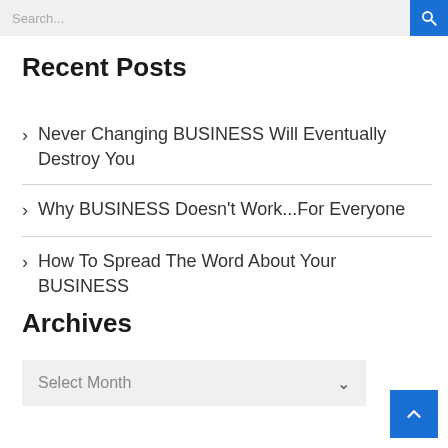Search...
Recent Posts
Never Changing BUSINESS Will Eventually Destroy You
Why BUSINESS Doesn't Work...For Everyone
How To Spread The Word About Your BUSINESS
Archives
Select Month